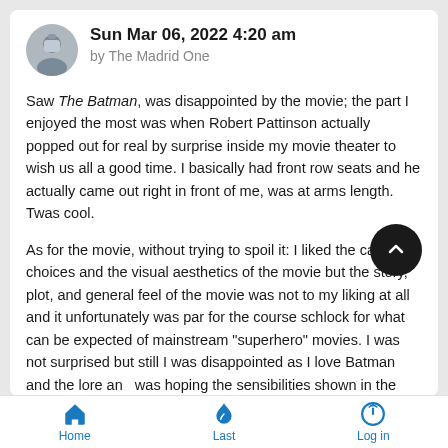Sun Mar 06, 2022 4:20 am by The Madrid One
Saw The Batman, was disappointed by the movie; the part I enjoyed the most was when Robert Pattinson actually popped out for real by surprise inside my movie theater to wish us all a good time. I basically had front row seats and he actually came out right in front of me, was at arms length. Twas cool.
As for the movie, without trying to spoil it: I liked the casting choices and the visual aesthetics of the movie but the story, plot, and general feel of the movie was not to my liking at all and it unfortunately was par for the course schlock for what can be expected of mainstream "superhero" movies. I was not surprised but still I was disappointed as I love Batman and the lore and was hoping the sensibilities shown in the first trailer would by some miracle from god pan out with more tasteful substance
Home  Last  Log in